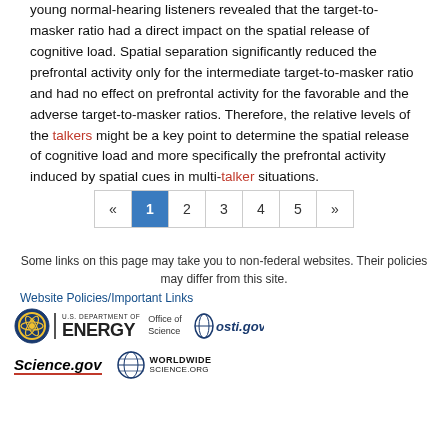young normal-hearing listeners revealed that the target-to-masker ratio had a direct impact on the spatial release of cognitive load. Spatial separation significantly reduced the prefrontal activity only for the intermediate target-to-masker ratio and had no effect on prefrontal activity for the favorable and the adverse target-to-masker ratios. Therefore, the relative levels of the talkers might be a key point to determine the spatial release of cognitive load and more specifically the prefrontal activity induced by spatial cues in multi-talker situations.
Some links on this page may take you to non-federal websites. Their policies may differ from this site.
Website Policies/Important Links
[Figure (other): Logos: U.S. Department of Energy Office of Science, osti.gov, Science.gov, WorldWideScience.org]